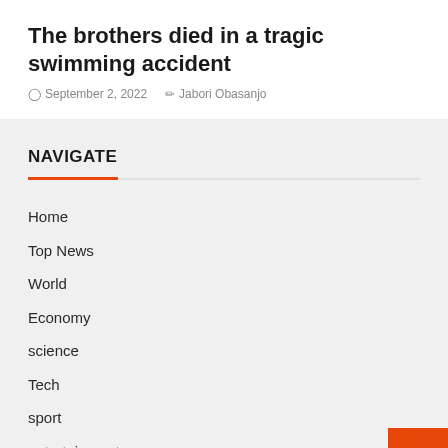The brothers died in a tragic swimming accident
September 2, 2022   Jabori Obasanjo
NAVIGATE
Home
Top News
World
Economy
science
Tech
sport
entertainment